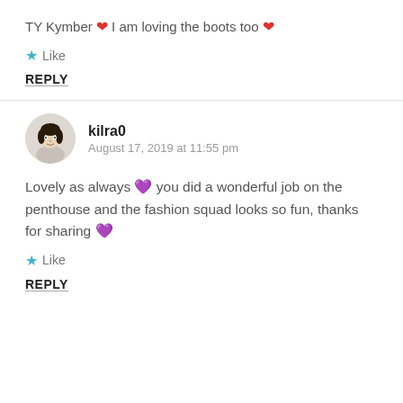TY Kymber ❤ I am loving the boots too ❤
Like
REPLY
kilra0
August 17, 2019 at 11:55 pm
Lovely as always 💜 you did a wonderful job on the penthouse and the fashion squad looks so fun, thanks for sharing 💜
Like
REPLY